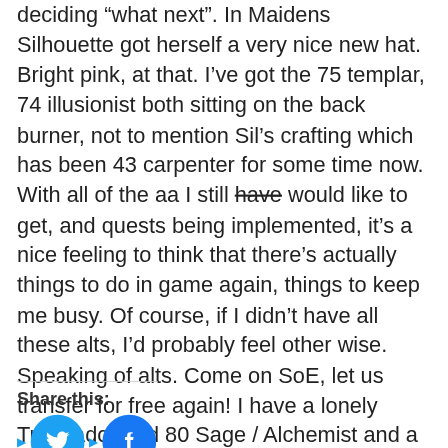deciding “what next”. In Maidens Silhouette got herself a very nice new hat. Bright pink, at that. I’ve got the 75 templar, 74 illusionist both sitting on the back burner, not to mention Sil’s crafting which has been 43 carpenter for some time now. With all of the aa I still have would like to get, and quests being implemented, it’s a nice feeling to think that there’s actually things to do in game again, things to keep me busy. Of course, if I didn’t have all these alts, I’d probably feel other wise. Speaking of alts. Come on SoE, let us transfer for free again! I have a lonely Troubador and 80 Sage / Alchemist and a few other alts still stranded over there on Antonia Bayle.
Share this: